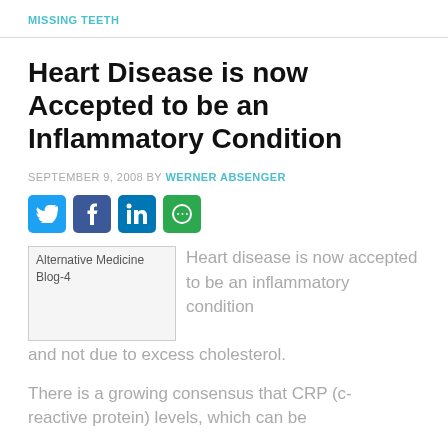MISSING TEETH
Heart Disease is now Accepted to be an Inflammatory Condition
SEPTEMBER 9, 2008 BY WERNER ABSENGER
[Figure (infographic): Social share icons: Twitter (blue), Facebook (dark blue), LinkedIn (blue), More Options (green)]
[Figure (photo): Alternative Medicine Blog-4 image placeholder]
Heart disease is now accepted to be an inflammatory condition and not due to excess cholesterol.
There is a growing consensus that CRP (c-reactive protein) levels, which can be